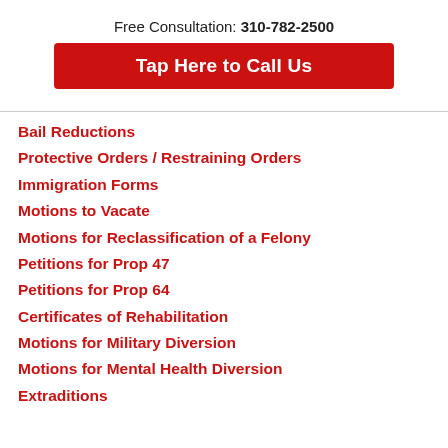Free Consultation: 310-782-2500
Tap Here to Call Us
Bail Reductions
Protective Orders / Restraining Orders
Immigration Forms
Motions to Vacate
Motions for Reclassification of a Felony
Petitions for Prop 47
Petitions for Prop 64
Certificates of Rehabilitation
Motions for Military Diversion
Motions for Mental Health Diversion
Extraditions